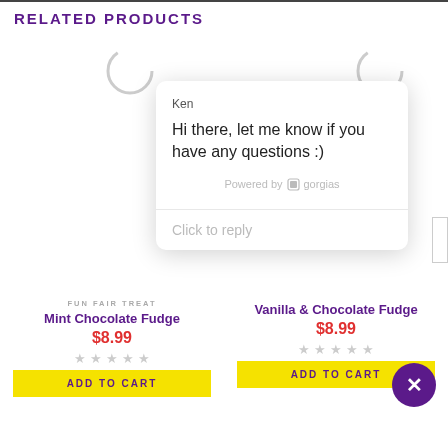RELATED PRODUCTS
[Figure (screenshot): Loading spinner arc for first product (Mint Chocolate Fudge)]
FUN FAIR TREAT
Mint Chocolate Fudge
$8.99
[Figure (screenshot): Loading spinner arc for second product (Vanilla & Chocolate Fudge)]
Vanilla & Chocolate Fudge
$8.99
[Figure (screenshot): Chat popup from Ken: Hi there, let me know if you have any questions :) Powered by gorgias. Click to reply.]